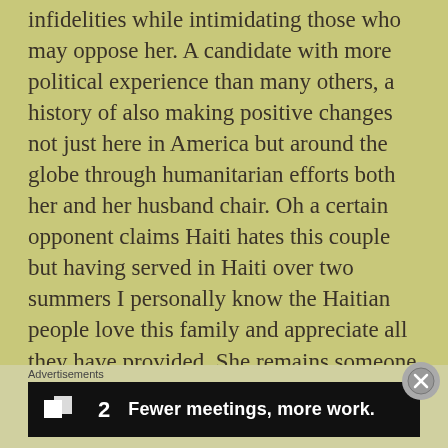infidelities while intimidating those who may oppose her. A candidate with more political experience than many others, a history of also making positive changes not just here in America but around the globe through humanitarian efforts both her and her husband chair. Oh a certain opponent claims Haiti hates this couple but having served in Haiti over two summers I personally know the Haitian people love this family and appreciate all they have provided. She remains someone who by all rights is the single most powerful woman in America and that does not come from portraying oneself as a soft loving Ms. Cleaver type much to the chagrin of several male counterparts! To be a woman of power in today's tough highly charged political arena I
Advertisements
[Figure (other): Black advertisement banner with the Basecamp logo (two overlapping squares) and the number 2, with the text 'Fewer meetings, more work.' in bold white font]